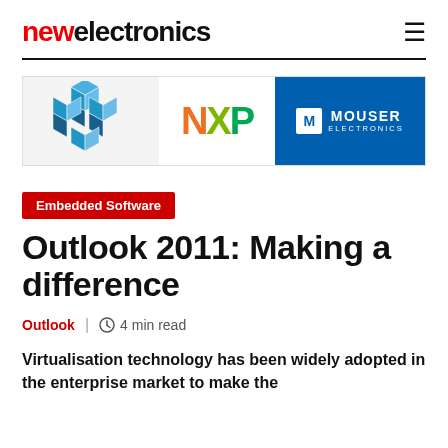newelectronics
[Figure (logo): NXP and Mouser Electronics advertisement banner with geometric logo on left, NXP logo in center, and Mouser Electronics logo on right with blue background]
Embedded Software
Outlook 2011: Making a difference
Outlook | 4 min read
Virtualisation technology has been widely adopted in the enterprise market to make the